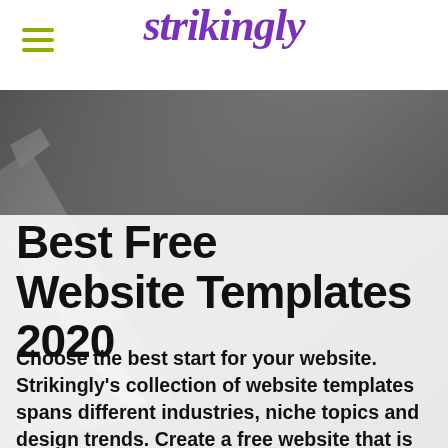strikingly
[Figure (photo): Black and white background image showing angled pen or pencil in dramatic lighting, used as hero background]
Best Free Website Templates 2020
Choose the best start for your website. Strikingly's collection of website templates spans different industries, niche topics and design trends. Create a free website that is uniquely yours with a powerful website